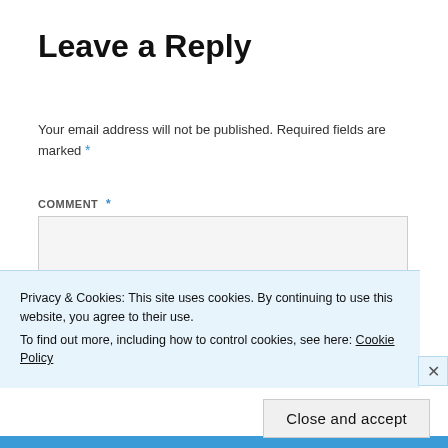Leave a Reply
Your email address will not be published. Required fields are marked *
COMMENT *
[Figure (screenshot): Empty comment text area input box with light gray background]
Privacy & Cookies: This site uses cookies. By continuing to use this website, you agree to their use.
To find out more, including how to control cookies, see here: Cookie Policy
Close and accept